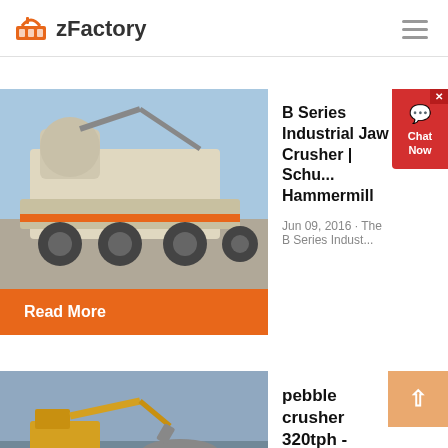zFactory
[Figure (photo): Industrial jaw crusher machine on a truck/trailer, heavy machinery, outdoor setting]
B Series Industrial Jaw Crusher | Schu... Hammermill
Jun 09, 2016 · The B Series Indust...
Read More
[Figure (photo): Excavator working at a quarry or mining site near water]
pebble crusher 320tph - Akademia DiSC